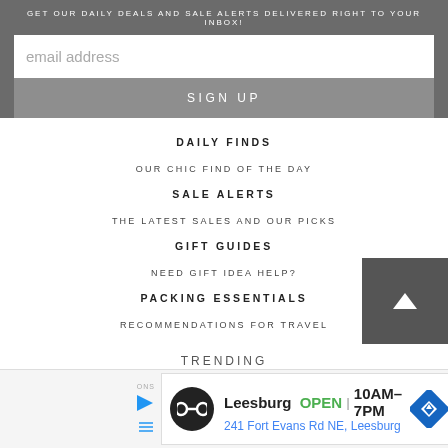GET OUR DAILY DEALS AND SALE ALERTS DELIVERED RIGHT TO YOUR INBOX!
email address
SIGN UP
DAILY FINDS
OUR CHIC FIND OF THE DAY
SALE ALERTS
THE LATEST SALES AND OUR PICKS
GIFT GUIDES
NEED GIFT IDEA HELP?
PACKING ESSENTIALS
RECOMMENDATIONS FOR TRAVEL
TRENDING
[Figure (infographic): Advertisement banner for Leesburg store: open 10AM-7PM, 241 Fort Evans Rd NE, Leesburg]